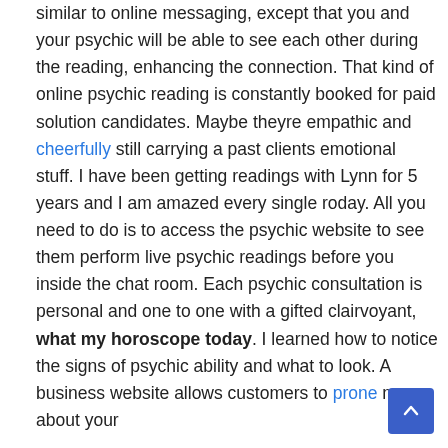similar to online messaging, except that you and your psychic will be able to see each other during the reading, enhancing the connection. That kind of online psychic reading is constantly booked for paid solution candidates. Maybe theyre empathic and cheerfully still carrying a past clients emotional stuff. I have been getting readings with Lynn for 5 years and I am amazed every single roday. All you need to do is to access the psychic website to see them perform live psychic readings before you inside the chat room. Each psychic consultation is personal and one to one with a gifted clairvoyant, what my horoscope today. I learned how to notice the signs of psychic ability and what to look. A business website allows customers to prone more about your